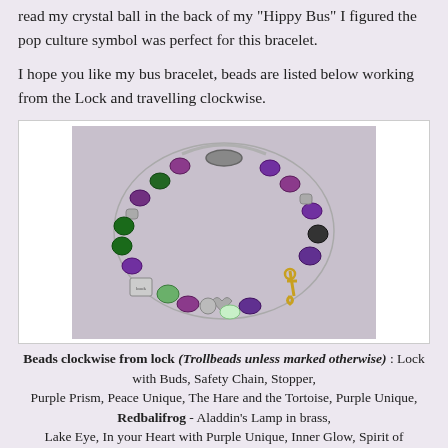read my crystal ball in the back of my "Hippy Bus" I figured the pop culture symbol was perfect for this bracelet.
I hope you like my bus bracelet, beads are listed below working from the Lock and travelling clockwise.
[Figure (photo): Photo of a charm bracelet with purple, green, and black glass beads, a silver lock with buds, safety chain, stopper, and gold and silver charms arranged in a circle.]
Beads clockwise from lock (Trollbeads unless marked otherwise) : Lock with Buds, Safety Chain, Stopper, Purple Prism, Peace Unique, The Hare and the Tortoise, Purple Unique, Redbalifrog - Aladdin's Lamp in brass, Lake Eye, In your Heart with Purple Unique, Inner Glow, Spirit of Freedom,